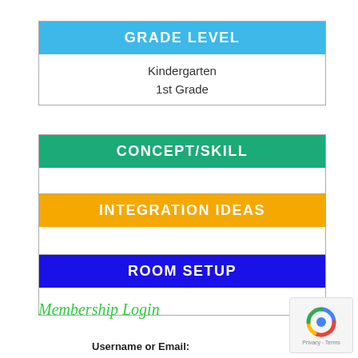| GRADE LEVEL |
| --- |
| Kindergarten
1st Grade |
| CONCEPT/SKILL |
| --- |
|  |
| INTEGRATION IDEAS |
| --- |
|  |
| ROOM SETUP |
| --- |
|  |
Membership Login
Username or Email: